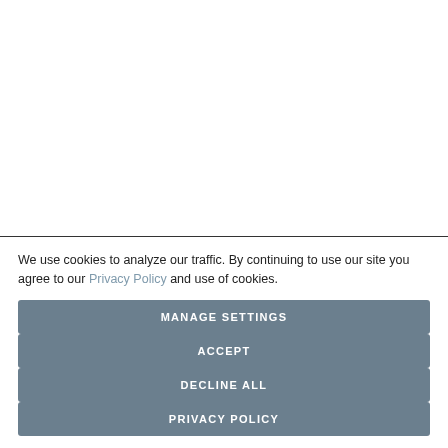We use cookies to analyze our traffic. By continuing to use our site you agree to our Privacy Policy and use of cookies.
MANAGE SETTINGS
ACCEPT
DECLINE ALL
PRIVACY POLICY